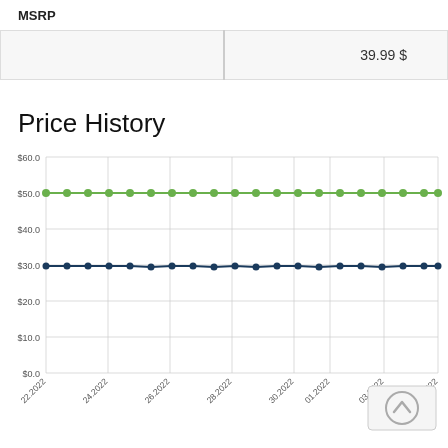MSRP
|  |  |
| --- | --- |
|  | 39.99 $ |
Price History
[Figure (line-chart): Price History]